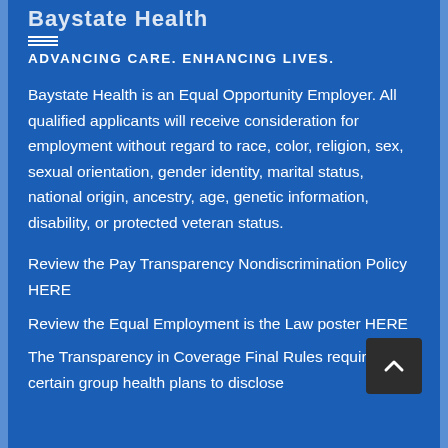[Figure (logo): Baystate Health logo with horizontal lines beneath and tagline ADVANCING CARE. ENHANCING LIVES.]
Baystate Health is an Equal Opportunity Employer. All qualified applicants will receive consideration for employment without regard to race, color, religion, sex, sexual orientation, gender identity, marital status, national origin, ancestry, age, genetic information, disability, or protected veteran status.
Review the Pay Transparency Nondiscrimination Policy HERE
Review the Equal Employment is the Law poster HERE
The Transparency in Coverage Final Rules require certain group health plans to disclose